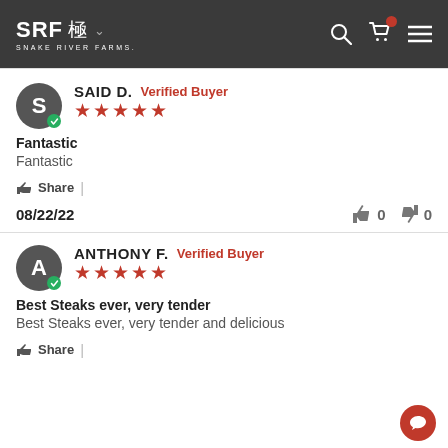SRF 極 SNAKE RIVER FARMS.
SAID D. Verified Buyer ★★★★★
Fantastic
Fantastic
Share | 08/22/22  👍 0  👎 0
ANTHONY F. Verified Buyer ★★★★★
Best Steaks ever, very tender
Best Steaks ever, very tender and delicious
Share |